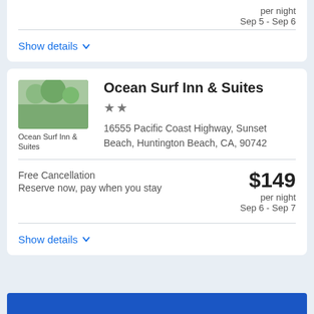Show details
Ocean Surf Inn & Suites
★★
16555 Pacific Coast Highway, Sunset Beach, Huntington Beach, CA, 90742
Free Cancellation
Reserve now, pay when you stay
$149 per night Sep 6 - Sep 7
Show details